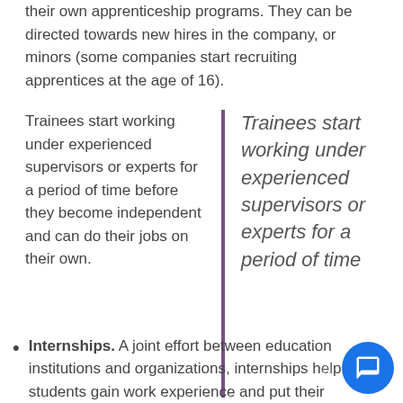their own apprenticeship programs. They can be directed towards new hires in the company, or minors (some companies start recruiting apprentices at the age of 16).
Trainees start working under experienced supervisors or experts for a period of time before they become independent and can do their jobs on their own.
Trainees start working under experienced supervisors or experts for a period of time
Internships. A joint effort between education institutions and organizations, internships help students gain work experience and put their